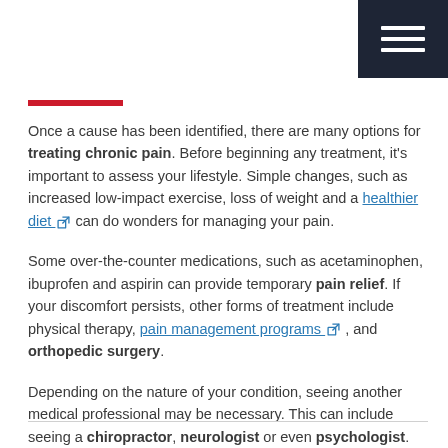[Figure (other): Dark navy hamburger menu icon in top-right corner]
Once a cause has been identified, there are many options for treating chronic pain. Before beginning any treatment, it's important to assess your lifestyle. Simple changes, such as increased low-impact exercise, loss of weight and a healthier diet [external link] can do wonders for managing your pain.
Some over-the-counter medications, such as acetaminophen, ibuprofen and aspirin can provide temporary pain relief. If your discomfort persists, other forms of treatment include physical therapy, pain management programs [external link], and orthopedic surgery.
Depending on the nature of your condition, seeing another medical professional may be necessary. This can include seeing a chiropractor, neurologist or even psychologist.